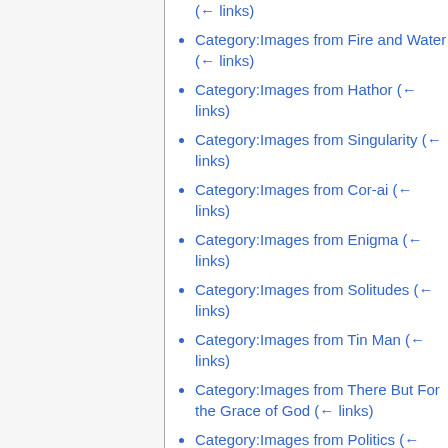(← links)
Category:Images from Fire and Water  (← links)
Category:Images from Hathor  (← links)
Category:Images from Singularity  (← links)
Category:Images from Cor-ai  (← links)
Category:Images from Enigma  (← links)
Category:Images from Solitudes  (← links)
Category:Images from Tin Man  (← links)
Category:Images from There But For the Grace of God  (← links)
Category:Images from Politics  (← links)
Category:Images from Within the...